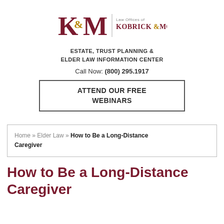[Figure (logo): Law Offices of Kobrick & Moccia logo with K&M monogram]
ESTATE, TRUST PLANNING & ELDER LAW INFORMATION CENTER
Call Now: (800) 295.1917
ATTEND OUR FREE WEBINARS
Home » Elder Law » How to Be a Long-Distance Caregiver
How to Be a Long-Distance Caregiver